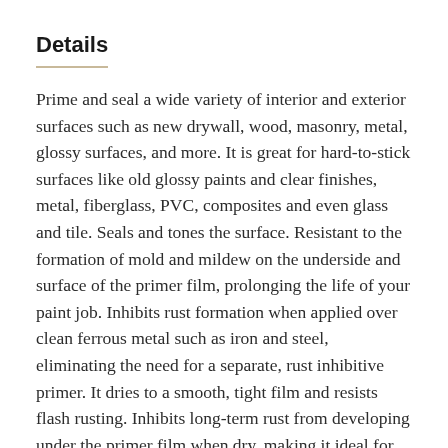Details
Prime and seal a wide variety of interior and exterior surfaces such as new drywall, wood, masonry, metal, glossy surfaces, and more. It is great for hard-to-stick surfaces like old glossy paints and clear finishes, metal, fiberglass, PVC, composites and even glass and tile. Seals and tones the surface. Resistant to the formation of mold and mildew on the underside and surface of the primer film, prolonging the life of your paint job. Inhibits rust formation when applied over clean ferrous metal such as iron and steel, eliminating the need for a separate, rust inhibitive primer. It dries to a smooth, tight film and resists flash rusting. Inhibits long-term rust from developing under the primer film when dry, making it ideal for priming interior and exterior